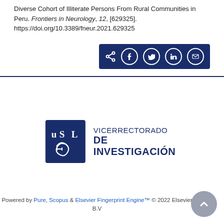Diverse Cohort of Illiterate Persons From Rural Communities in Peru. Frontiers in Neurology, 12, [629325]. https://doi.org/10.3389/fneur.2021.629325
[Figure (infographic): Dark blue social share bar with icons for share, Facebook, Twitter, LinkedIn, and email]
[Figure (logo): USIL Vicerrectorado de Investigación logo — dark blue square with stylized USIL letters and swirl, next to text VICERRECTORADO DE INVESTIGACIÓN]
Powered by Pure, Scopus & Elsevier Fingerprint Engine™ © 2022 Elsevier B.V